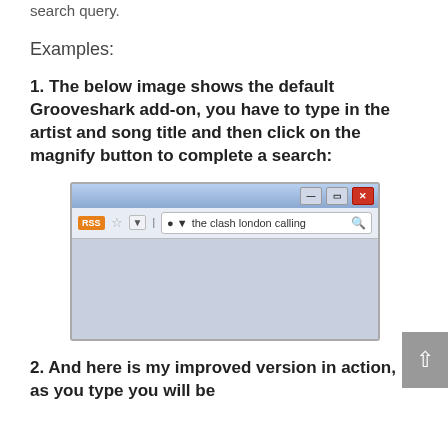search query.
Examples:
1. The below image shows the default Grooveshark add-on, you have to type in the artist and song title and then click on the magnify button to complete a search:
[Figure (screenshot): Browser toolbar screenshot showing a search bar with 'the clash london calling' typed in, with RSS button, star, and magnify icons. Browser window with title bar containing minimize, restore, close buttons.]
2. And here is my improved version in action, as you type you will be